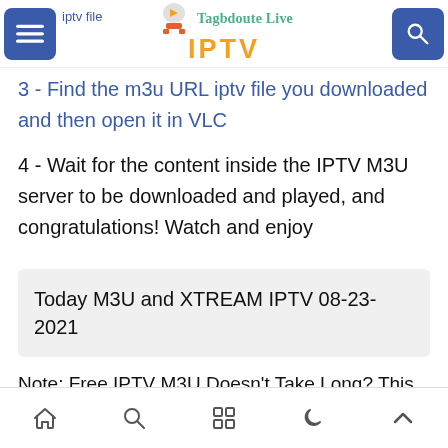iptv file — Tagbdoute Live IPTV
3 - Find the m3u URL iptv file you downloaded and then open it in VLC
4 - Wait for the content inside the IPTV M3U server to be downloaded and played, and congratulations! Watch and enjoy
Today M3U and XTREAM IPTV 08-23-2021
Note: Free IPTV M3U Doesn't Take Long? This is terrible news, isn't it? The road is slow! The good news is that
Home | Search | Apps | Night | Up